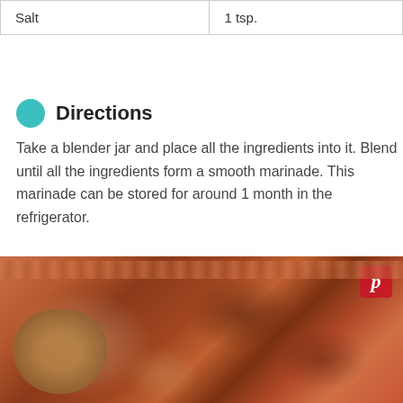| Salt | 1 tsp. |
Directions
Take a blender jar and place all the ingredients into it. Blend until all the ingredients form a smooth marinade. This marinade can be stored for around 1 month in the refrigerator.
[Figure (photo): Photo of grilled marinated chicken pieces on a plate with a glass cup of dark marinade sauce and a wooden spoon, on a red patterned tablecloth, with a Pinterest logo in the top right corner.]